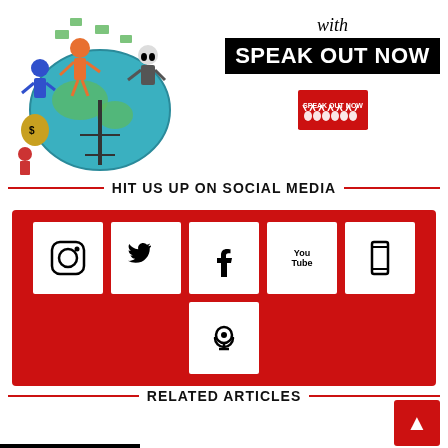[Figure (illustration): Cartoon illustration of figures on a globe with money, alongside 'with SPEAK OUT NOW' branding text and a small Speak Out Now logo]
HIT US UP ON SOCIAL MEDIA
[Figure (infographic): Red background box containing social media icons: Instagram, Twitter, Facebook, YouTube, a phone/app icon, and a Podcast icon]
RELATED ARTICLES